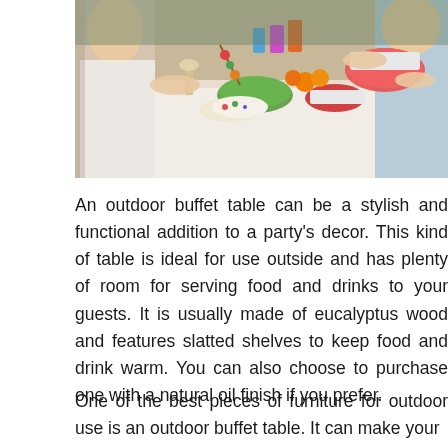[Figure (photo): People gathered around an outdoor dining table with colorful food and drinks including watermelon, tomatoes, salads, and beverages.]
An outdoor buffet table can be a stylish and functional addition to a party's decor. This kind of table is ideal for use outside and has plenty of room for serving food and drinks to your guests. It is usually made of eucalyptus wood and features slatted shelves to keep food and drink warm. You can also choose to purchase one with a natural oil finish if you prefer.
One of the best pieces of furniture for outdoor use is an outdoor buffet table. It can make your